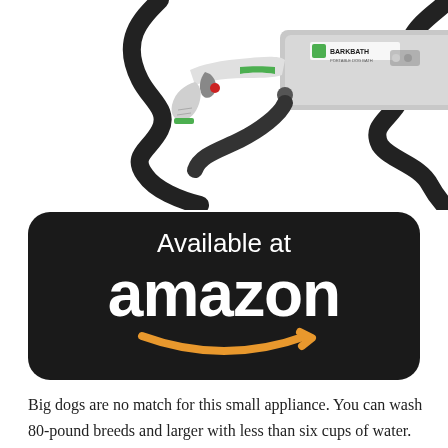[Figure (photo): BarkBath portable dog bath device with black hose, white and silver body with green accents, and a handheld sprayer attachment]
[Figure (logo): Available at amazon badge — dark rounded rectangle with white text 'Available at' and large white 'amazon' wordmark with orange smile arrow beneath]
Big dogs are no match for this small appliance. You can wash 80-pound breeds and larger with less than six cups of water. To accommodate short- and long-haired dogs, there are two attachments with